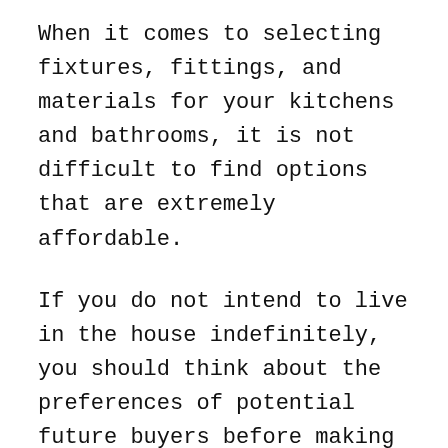When it comes to selecting fixtures, fittings, and materials for your kitchens and bathrooms, it is not difficult to find options that are extremely affordable.
If you do not intend to live in the house indefinitely, you should think about the preferences of potential future buyers before making any major changes. Not all prospective buyers will be willing to invest in post-purchase renovations.
It is better to spend a little bit more and display a product that people will love than it is to display a product that people will look at and